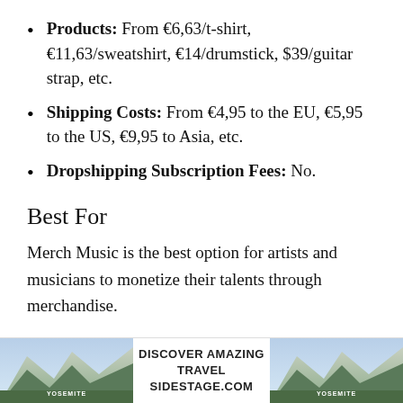Products: From €6,63/t-shirt, €11,63/sweatshirt, €14/drumstick, $39/guitar strap, etc.
Shipping Costs: From €4,95 to the EU, €5,95 to the US, €9,95 to Asia, etc.
Dropshipping Subscription Fees: No.
Best For
Merch Music is the best option for artists and musicians to monetize their talents through merchandise.
[Figure (infographic): Advertisement banner: Two mountain/Yosemite landscape photos flanking centered text 'DISCOVER AMAZING TRAVEL SIDESTAGE.COM' in bold black sans-serif on white background.]